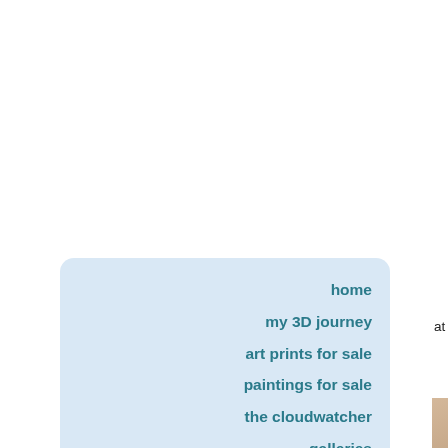[Figure (illustration): Engineering/technical diagram of a car (partial view, top portion), showing a red car body outline with annotations including 'Absorbent Moulded' and 'Units front & rear', with dimension lines on white background]
at 10' 7" it was nearly as short a
[Figure (illustration): Artistic rendering/magic marker sketch of two classic cars (appears to be 1950s Jaguar designs) on a gradient grey-to-orange background, showing a dark fastback coupe above and a darker sports car below]
home
my 3D journey
art prints for sale
paintings for sale
the cloudwatcher galleries
Jaguar designers
Jaguar history
magic marker
raytracing
re-engineering
sketchbook
watercolour